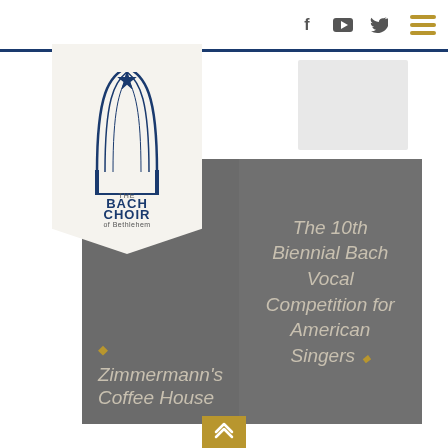The Bach Choir of Bethlehem — navigation bar with social icons (Facebook, YouTube, Twitter) and hamburger menu
[Figure (logo): The Bach Choir of Bethlehem logo — arched cathedral graphic with star, text 'THE BACH CHOIR of Bethlehem']
[Figure (other): Calendar thumbnail placeholder (gray box) top right]
er Music in the Saal
, 2023 @ 4:00 pm - 5:30 pm
[Figure (other): Calendar icon placeholder (gray box with calendar grid SVG) right side]
[Figure (other): Zimmermann's Coffee House event card — dark gray card with italic text]
[Figure (other): The 10th Biennial Bach Vocal Competition for American Singers event card — dark gray card with italic text]
[Figure (other): Scroll to top button — gold/amber square with double upward chevron]